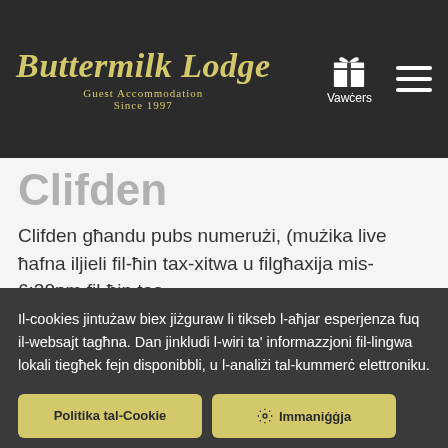Buttermilk Lodge Guest Accommodation Since 1997
Clifden
Clifden għandu pubs numerużi, (mużika live ħafna iljieli fil-ħin tax-xitwa u filgħaxija mis-6:30pm fil-ħin tas-
Il-cookies jintużaw biex jiżguraw li tikseb l-aħjar esperjenza fuq il-websajt tagħna. Dan jinkludi l-wiri ta' informazzjoni fil-lingwa lokali tiegħek fejn disponibbli, u l-analiżi tal-kummerċ elettroniku.
Politika tal-Cookie
Immaniġġja
Ħalli Cookies